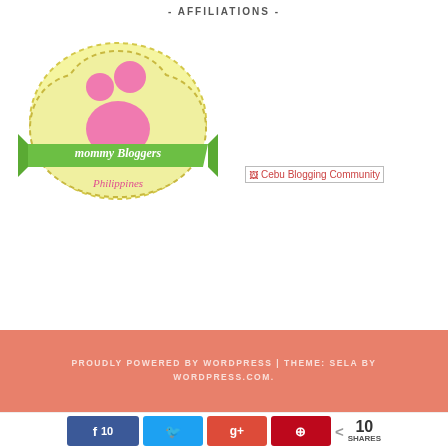- AFFILIATIONS -
[Figure (logo): Mommy Bloggers Philippines logo — a yellow heart shape with dashed border containing a pink mother-and-child figure icon and a green ribbon banner with text 'mommy Bloggers Philippines']
[Figure (logo): Cebu Blogging Community — broken/loading image placeholder with alt text 'Cebu Blogging Community']
PROUDLY POWERED BY WORDPRESS | THEME: SELA BY WORDPRESS.COM.
f 10  [Twitter icon]  g+  [Pinterest icon]  < 10 SHARES